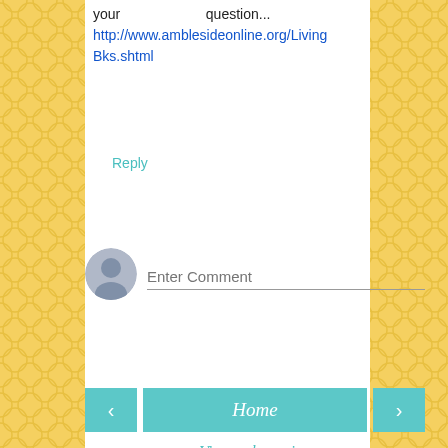your question... http://www.amblesideonline.org/LivingBks.shtml
Reply
[Figure (other): User avatar icon (grey silhouette) next to Enter Comment input field]
Enter Comment
Home
View web version
[Figure (other): Advertisement banner with Korean text and blue button]
[Figure (photo): Partial photo visible at bottom of page]